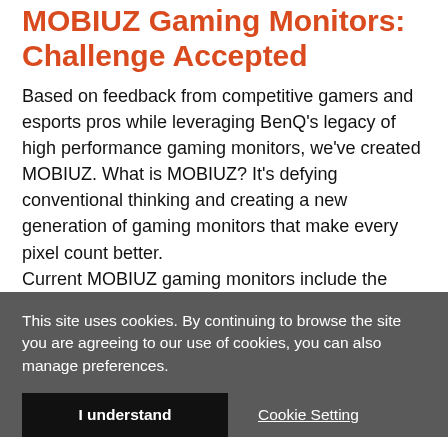MOBIUZ Gaming Monitors: Challenge Accepted
Based on feedback from competitive gamers and esports pros while leveraging BenQ's legacy of high performance gaming monitors, we've created MOBIUZ. What is MOBIUZ? It's defying conventional thinking and creating a new generation of gaming monitors that make every pixel count better.
Current MOBIUZ gaming monitors include the
This site uses cookies. By continuing to browse the site you are agreeing to our use of cookies, you can also manage preferences.
I understand
Cookie Setting
Find More